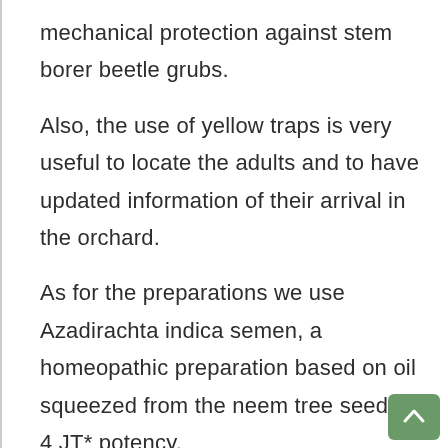mechanical protection against stem borer beetle grubs.
Also, the use of yellow traps is very useful to locate the adults and to have updated information of their arrival in the orchard.
As for the preparations we use Azadirachta indica semen, a homeopathic preparation based on oil squeezed from the neem tree seeds at 4 JT* potency.
The application should coincide with